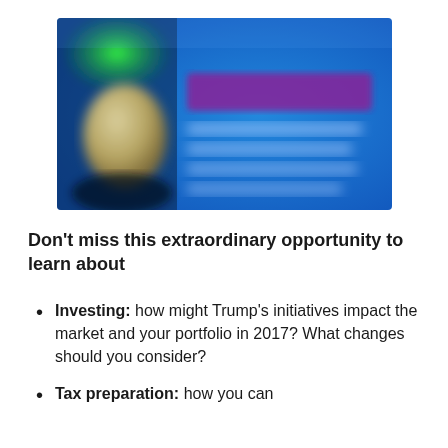[Figure (photo): Blurred promotional banner image with blue background, green element top-left, gold coin shape on left side, and blurred purple/white text on right side]
Don't miss this extraordinary opportunity to learn about
Investing:  how might Trump's initiatives impact the market and your portfolio in 2017? What changes should you consider?
Tax preparation:  how you can